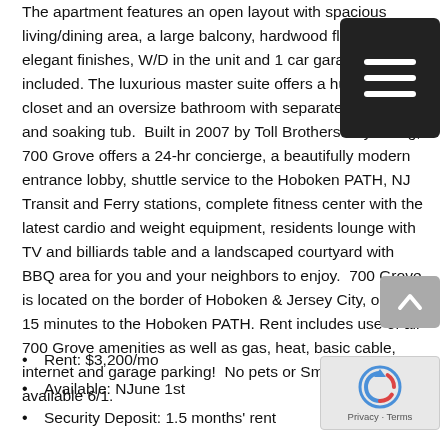The apartment features an open layout with spacious living/dining area, a large balcony, hardwood floors, elegant finishes, W/D in the unit and 1 car garage parking included. The luxurious master suite offers a huge walk-in-closet and an oversize bathroom with separate shower and soaking tub.  Built in 2007 by Toll Brothers City Living, 700 Grove offers a 24-hr concierge, a beautifully modern entrance lobby, shuttle service to the Hoboken PATH, NJ Transit and Ferry stations, complete fitness center with the latest cardio and weight equipment, residents lounge with TV and billiards table and a landscaped courtyard with BBQ area for you and your neighbors to enjoy.  700 Grove is located on the border of Hoboken & Jersey City, only 10-15 minutes to the Hoboken PATH. Rent includes use of all 700 Grove amenities as well as gas, heat, basic cable, internet and garage parking!  No pets or Smoking allowed, available 6/1.
Rent: $3,200/mo
Available: NJune 1st
Security Deposit: 1.5 months' rent